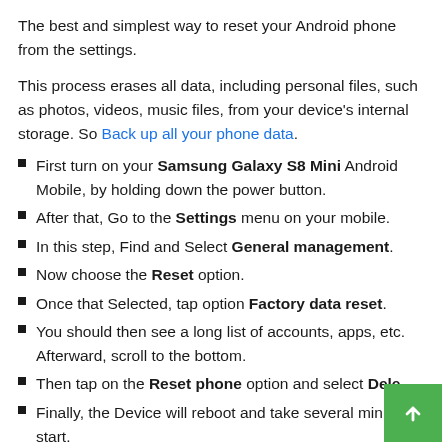The best and simplest way to reset your Android phone from the settings.
This process erases all data, including personal files, such as photos, videos, music files, from your device's internal storage. So Back up all your phone data.
First turn on your Samsung Galaxy S8 Mini Android Mobile, by holding down the power button.
After that, Go to the Settings menu on your mobile.
In this step, Find and Select General management.
Now choose the Reset option.
Once that Selected, tap option Factory data reset.
You should then see a long list of accounts, apps, etc. Afterward, scroll to the bottom.
Then tap on the Reset phone option and select Dele…
Finally, the Device will reboot and take several minutes to start.